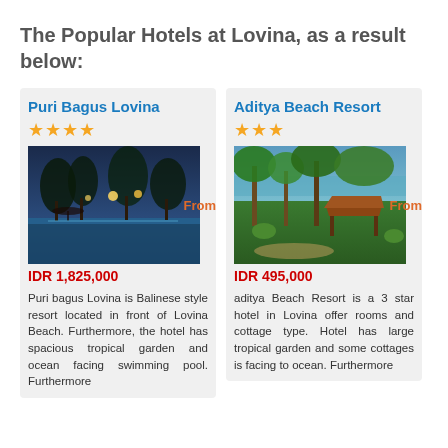The Popular Hotels at Lovina, as a result below:
Puri Bagus Lovina
★★★★
[Figure (photo): Outdoor pool area at night with palm trees and ambient lighting at Puri Bagus Lovina]
From
IDR 1,825,000
Puri bagus Lovina is Balinese style resort located in front of Lovina Beach. Furthermore, the hotel has spacious tropical garden and ocean facing swimming pool. Furthermore
Aditya Beach Resort
★★★
[Figure (photo): Tropical garden with bale pavilion and ocean view at Aditya Beach Resort]
From
IDR 495,000
aditya Beach Resort is a 3 star hotel in Lovina offer rooms and cottage type. Hotel has large tropical garden and some cottages is facing to ocean. Furthermore